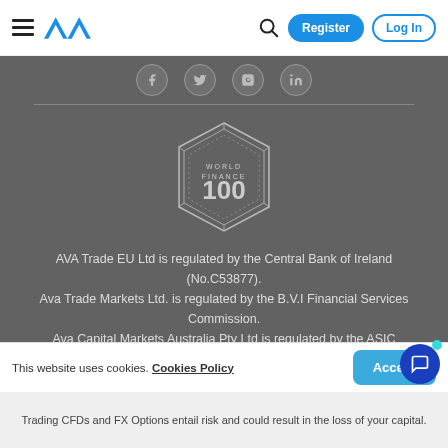AVA — Register | Log In
[Figure (logo): World Finance 100 hexagon badge]
AVA Trade EU Ltd is regulated by the Central Bank of Ireland (No.C53877). Ava Trade Markets Ltd. is regulated by the B.V.I Financial Services Commission. Ava Capital Markets Australia Pty Ltd is regulated by the ASIC (No.). Ava Capital Markets Pty is regulated by the South African...
This website uses cookies. Cookies Policy
Trading CFDs and FX Options entail risk and could result in the loss of your capital.